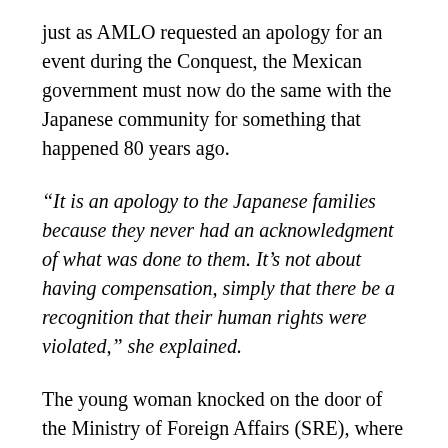just as AMLO requested an apology for an event during the Conquest, the Mexican government must now do the same with the Japanese community for something that happened 80 years ago.
“It is an apology to the Japanese families because they never had an acknowledgment of what was done to them. It’s not about having compensation, simply that there be a recognition that their human rights were violated,” she explained.
The young woman knocked on the door of the Ministry of Foreign Affairs (SRE), where a hearing is pending.
She also went to the Senate of the Republic, specifically to the Foreign Relations Commission, headed by Senator Héctor